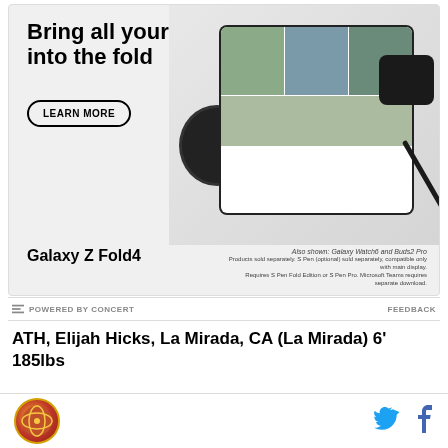[Figure (infographic): Samsung Galaxy Z Fold4 advertisement showing a foldable phone with video call screen, Galaxy Watch6, Buds2 Pro earbuds, and S Pen. Text reads 'Bring all your devices into the fold' with a 'LEARN MORE' button.]
Also shown: Galaxy Watch6 and Buds2 Pro. Products sold separately. S Pen (optional) sold separately, compatible only with main display. Requires S Pen Fold Edition or S Pen Pro. Microsoft Teams requires separate download.
POWERED BY CONCERT
FEEDBACK
ATH, Elijah Hicks, La Mirada, CA (La Mirada) 6' 185lbs
Elijah is listed as an ATH, but would probably play CB
[Figure (logo): Sports website logo - circular orange and red globe design]
[Figure (illustration): Twitter bird icon in blue]
[Figure (illustration): Facebook f icon in blue]